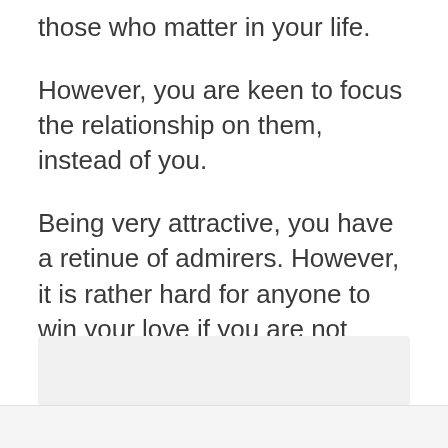those who matter in your life.
However, you are keen to focus the relationship on them, instead of you.
Being very attractive, you have a retinue of admirers. However, it is rather hard for anyone to win your love if you are not interested in them. Y